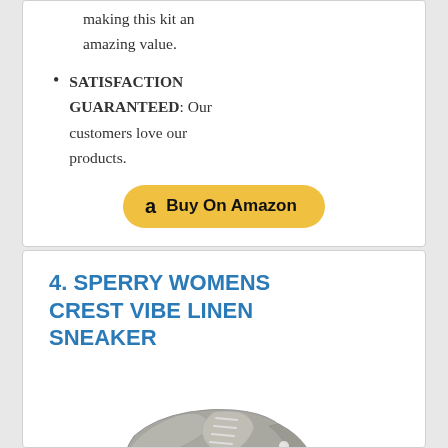making this kit an amazing value.
SATISFACTION GUARANTEED: Our customers love our products.
[Figure (other): Buy On Amazon button with Amazon logo]
4. SPERRY WOMENS CREST VIBE LINEN SNEAKER
[Figure (photo): Photo of a grey Sperry Womens Crest Vibe Linen Sneaker shoe]